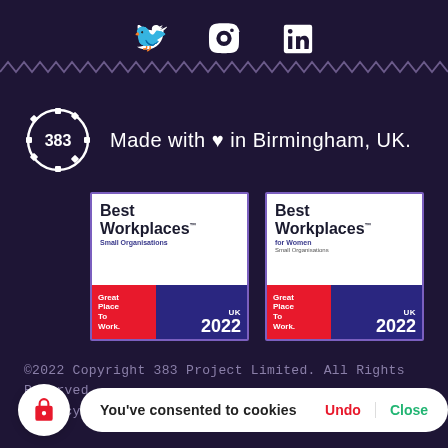[Figure (infographic): Social media icons: Twitter bird, Instagram square, LinkedIn 'in' logo, displayed in white on dark purple background]
[Figure (illustration): Zigzag/wave decorative line separator in muted purple]
[Figure (logo): 383 Project logo badge (circular gear-style badge with '383' text) followed by text 'Made with heart in Birmingham, UK.']
[Figure (infographic): Two 'Best Workplaces Small Organisations' Great Place To Work UK 2022 badges side by side — one standard, one for Women]
©2022 Copyright 383 Project Limited. All Rights Reserved.
Privacy Policy
You've consented to cookies  Undo  Close